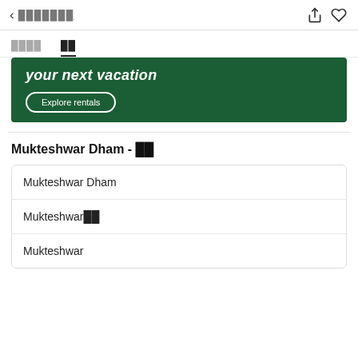< ▓▓▓▓▓▓▓
▓▓▓▓  ▓▓
[Figure (screenshot): Green banner advertisement with white italic text 'your next vacation' and a white outlined button labeled 'Explore rentals']
Mukteshwar Dham - ▓▓
Mukteshwar Dham
Mukteshwar▓▓
Mukteshwar